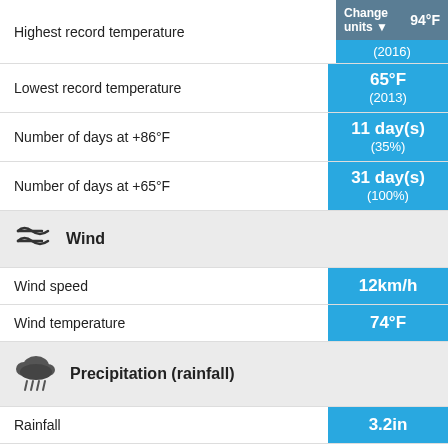| Metric | Value |
| --- | --- |
| Highest record temperature | 94°F (2016) |
| Lowest record temperature | 65°F (2013) |
| Number of days at +86°F | 11 day(s) (35%) |
| Number of days at +65°F | 31 day(s) (100%) |
| Wind |  |
| Wind speed | 12km/h |
| Wind temperature | 74°F |
| Precipitation (rainfall) |  |
| Rainfall | 3.2in |